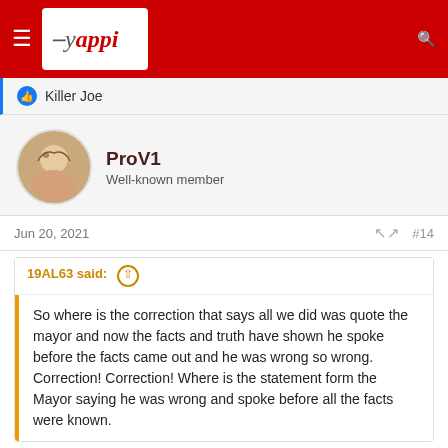Yappi — Log in   Register
Killer Joe
ProV1
Well-known member
Jun 20, 2021   #14
19AL63 said:
So where is the correction that says all we did was quote the mayor and now the facts and truth have shown he spoke before the facts came out and he was wrong so wrong. Correction! Correction! Where is the statement form the Mayor saying he was wrong and spoke before all the facts were known.
First, a news organization does not need to publish a correction unless what they published was wrong. They published nothing wrong. They reported what happened and included a quote from